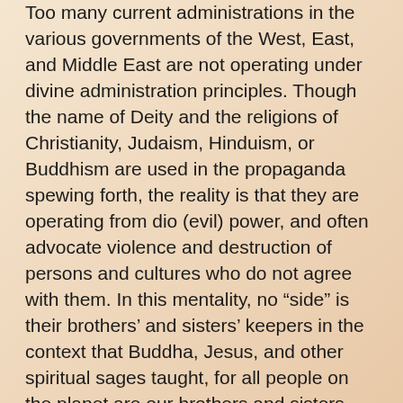Too many current administrations in the various governments of the West, East, and Middle East are not operating under divine administration principles. Though the name of Deity and the religions of Christianity, Judaism, Hinduism, or Buddhism are used in the propaganda spewing forth, the reality is that they are operating from dio (evil) power, and often advocate violence and destruction of persons and cultures who do not agree with them. In this mentality, no “side” is their brothers’ and sisters’ keepers in the context that Buddha, Jesus, and other spiritual sages taught, for all people on the planet are our brothers and sisters, regardless of race, nationality, or creed.
As The URANTIA Book teaches, within divine administration principles, the individual and